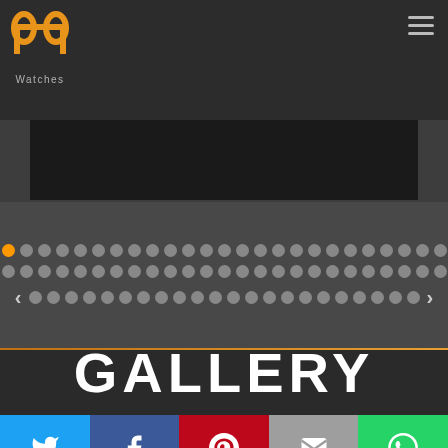[Figure (logo): PP Watches logo - two stylized letter P shapes in gold/orange on dark background, with text 'Watches' below]
[Figure (screenshot): Website screenshot showing a watch gallery slider with pagination dots and navigation arrows. Header has PP Watches logo and hamburger menu. Bottom shows GALLERY section title in white on dark background with social share buttons (Twitter, Facebook, Pinterest, Email, WhatsApp).]
GALLERY